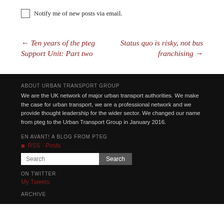Notify me of new posts via email.
← Ten years of the pteg Support Unit: Part two
Status quo is risky, not bus franchising →
ABOUT URBAN TRANSPORT GROUP
We are the UK network of major urban transport authorities. We make the case for urban transport, we are a professional network and we provide thought leadership for the wider sector. We changed our name from pteg to the Urban Transport Group in January 2016.
EN AVANT! A BLOG FROM PTEG
RSS - Posts
ON TWITTER
My Tweets
ARCHIVE